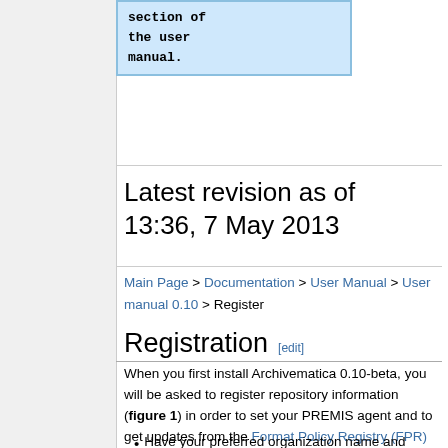section of the user manual.
Latest revision as of 13:36, 7 May 2013
Main Page > Documentation > User Manual > User manual 0.10 > Register
Registration [edit]
When you first install Archivematica 0.10-beta, you will be asked to register repository information (figure 1) in order to set your PREMIS agent and to get updates from the Format Policy Registry (FPR) from the server (figure 2)
Have your preferred organization name and identifier ready, which will